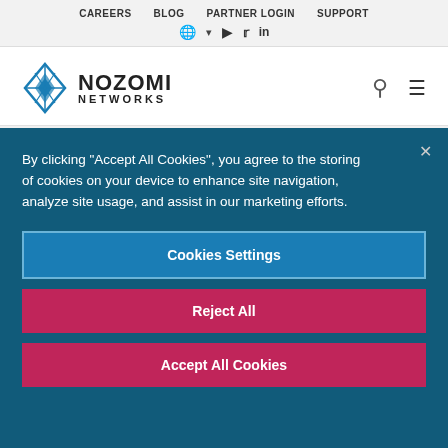CAREERS  BLOG  PARTNER LOGIN  SUPPORT
[Figure (logo): Nozomi Networks logo with blue diamond grid icon and bold text NOZOMI NETWORKS]
By clicking "Accept All Cookies", you agree to the storing of cookies on your device to enhance site navigation, analyze site usage, and assist in our marketing efforts.
Cookies Settings
Reject All
Accept All Cookies